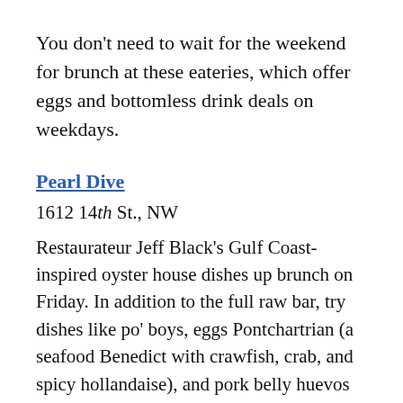You don't need to wait for the weekend for brunch at these eateries, which offer eggs and bottomless drink deals on weekdays.
Pearl Dive
1612 14th St., NW
Restaurateur Jeff Black's Gulf Coast-inspired oyster house dishes up brunch on Friday. In addition to the full raw bar, try dishes like po' boys, eggs Pontchartrian (a seafood Benedict with crawfish, crab, and spicy hollandaise), and pork belly huevos rancheros. Tables can order bottomless mimosas with fresh orange or